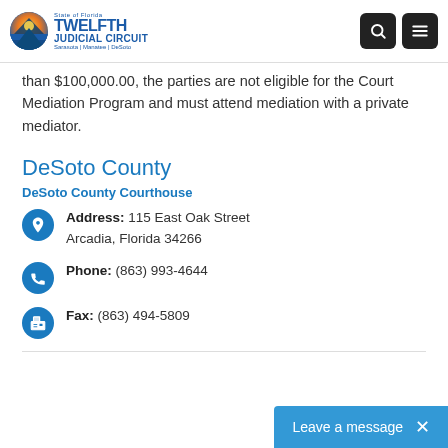State of Florida Twelfth Judicial Circuit — Sarasota | Manatee | DeSoto
than $100,000.00, the parties are not eligible for the Court Mediation Program and must attend mediation with a private mediator.
DeSoto County
DeSoto County Courthouse
Address: 115 East Oak Street
Arcadia, Florida 34266
Phone: (863) 993-4644
Fax: (863) 494-5809